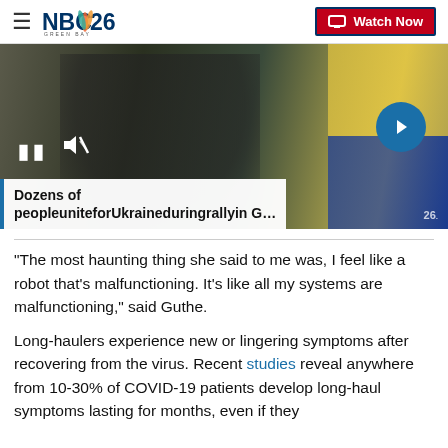NBC26 Green Bay — Watch Now
[Figure (screenshot): Video thumbnail showing a person in a black t-shirt holding a microphone at an outdoor rally, with a yellow and blue Ukrainian flag visible in the background. Video player controls visible: pause button, mute icon with slash, and a circular next arrow button.]
Dozens of peopleuniteforUkraineduringrallyin G…
“The most haunting thing she said to me was, I feel like a robot that’s malfunctioning. It’s like all my systems are malfunctioning,” said Guthe.
Long-haulers experience new or lingering symptoms after recovering from the virus. Recent studies reveal anywhere from 10-30% of COVID-19 patients develop long-haul symptoms lasting for months, even if they